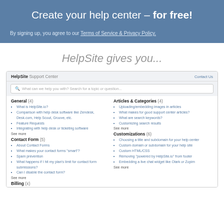Create your help center – for free!
By signing up, you agree to our Terms of Service & Privacy Policy.
HelpSite gives you...
[Figure (screenshot): Screenshot of HelpSite Support Center interface showing a search bar, and categories: General (4), Articles & Categories (4), Contact Form (5), Customizations (6), Billing (x)]